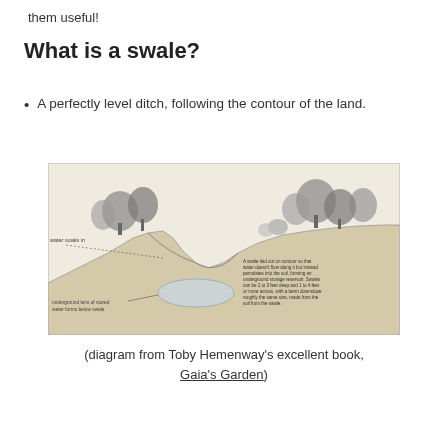them useful!
What is a swale?
A perfectly level ditch, following the contour of the land.
[Figure (illustration): Pencil sketch diagram of a swale showing a cross-section of land with trees, an underground lens of stored water below the swale, and annotations describing how water soaks in and forms an underground storage reservoir. Labels include 'water soaks in', 'underground lens of stored water forms below swale', and a description of swale dimensions.]
(diagram from Toby Hemenway's excellent book, Gaia's Garden)